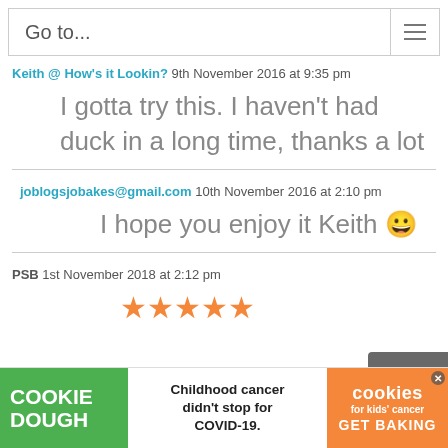Go to...
Keith @ How's it Lookin?  9th November 2016 at 9:35 pm
I gotta try this. I haven't had duck in a long time, thanks a lot
joblogsjobakes@gmail.com  10th November 2016 at 2:10 pm
I hope you enjoy it Keith 😁
PSB  1st November 2018 at 2:12 pm
[Figure (other): Five orange star rating icons]
[Figure (other): Cookie Dough advertisement banner: Childhood cancer didn't stop for COVID-19. GET BAKING. cookies for kids cancer.]